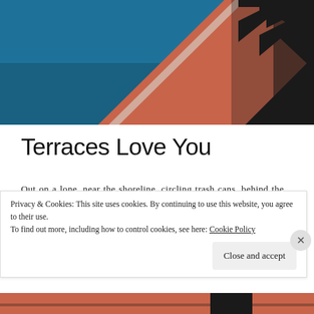[Figure (illustration): Abstract geometric artwork with teal/dark blue background, coral/terracotta diagonal shapes, and black angular chevron forms in top-right area]
Terraces Love You
Out on a lone, near the shoreline, circling trash cans, behind the ancient galleries, the racing mind cradled in the photographs of yesterday, the aspirations of today, and the heavy hope sailing for tomorrow. Hung in the deep current, prickled in the flesh, with furious eyes coloring the room, opining that the woods are upon the places you enter to
Privacy & Cookies: This site uses cookies. By continuing to use this website, you agree to their use.
To find out more, including how to control cookies, see here: Cookie Policy
Close and accept